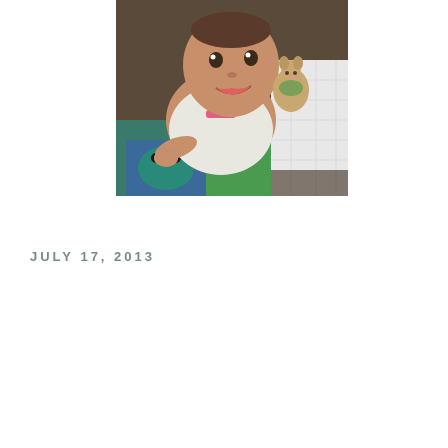[Figure (photo): A baby doing tummy time on a colorful play mat, wearing a white onesie with pink accents. The baby is looking up and smiling, holding a small stuffed animal toy. A white quilted blanket is visible to the right. The background shows a brown carpet.]
JULY 17, 2013